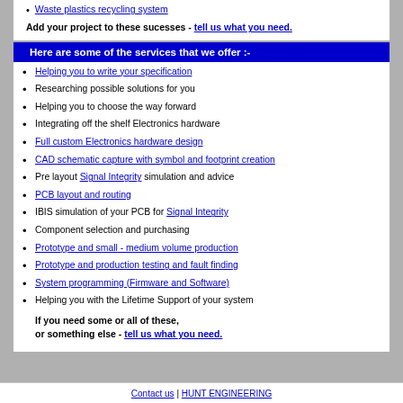Waste plastics recycling system
Add your project to these sucesses - tell us what you need.
Here are some of the services that we offer :-
Helping you to write your specification
Researching possible solutions for you
Helping you to choose the way forward
Integrating off the shelf Electronics hardware
Full custom Electronics hardware design
CAD schematic capture with symbol and footprint creation
Pre layout Signal Integrity simulation and advice
PCB layout and routing
IBIS simulation of your PCB for Signal Integrity
Component selection and purchasing
Prototype and small - medium volume production
Prototype and production testing and fault finding
System programming (Firmware and Software)
Helping you with the Lifetime Support of your system
If you need some or all of these, or something else - tell us what you need.
Contact us | HUNT ENGINEERING